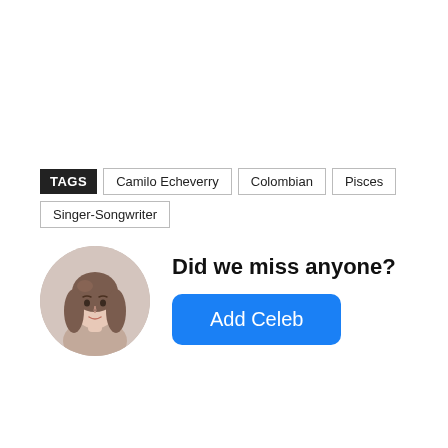TAGS  Camilo Echeverry  Colombian  Pisces  Singer-Songwriter
Did we miss anyone?
[Figure (illustration): Circular avatar image of a woman with long brown wavy hair]
Add Celeb